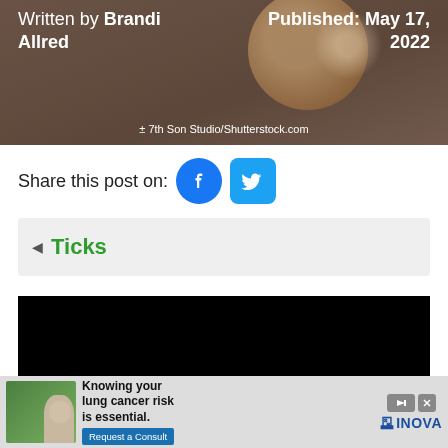Written by Brandi Allred | Published: May 17, 2022 | ± 7th Son Studio/Shutterstock.com
Share this post on:
◄ Ticks
[Figure (other): Black video embed block]
[Figure (other): INOVA advertisement: Knowing your lung cancer risk is essential. Request a Consult button, woman photo, INOVA logo.]